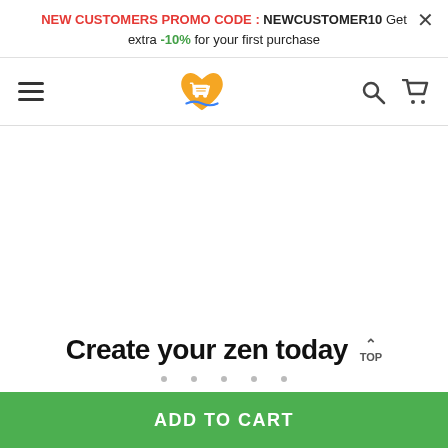NEW CUSTOMERS PROMO CODE : NEWCUSTOMER10 Get extra -10% for your first purchase
[Figure (logo): Orange heart-shaped shopping cart logo]
Create your zen today
ADD TO CART